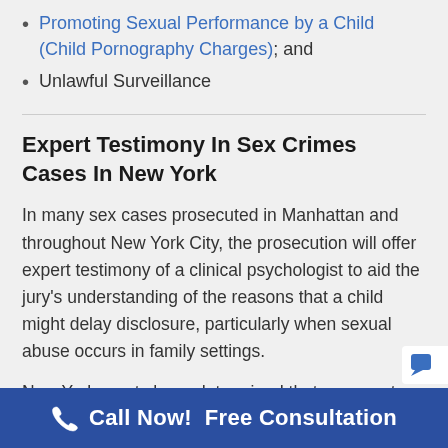Promoting Sexual Performance by a Child (Child Pornography Charges); and
Unlawful Surveillance
Expert Testimony In Sex Crimes Cases In New York
In many sex cases prosecuted in Manhattan and throughout New York City, the prosecution will offer expert testimony of a clinical psychologist to aid the jury's understanding of the reasons that a child might delay disclosure, particularly when sexual abuse occurs in family settings.
New York courts have determined that an expert
Call Now!  Free Consultation